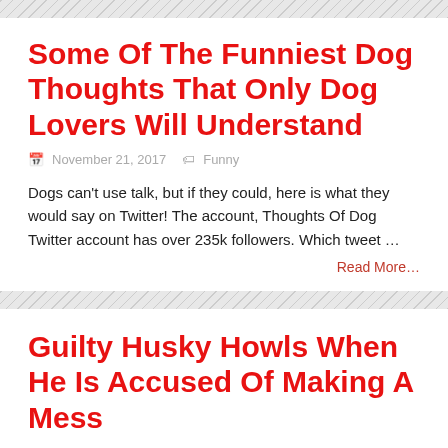Some Of The Funniest Dog Thoughts That Only Dog Lovers Will Understand
November 21, 2017   Funny
Dogs can't use talk, but if they could, here is what they would say on Twitter! The account, Thoughts Of Dog Twitter account has over 235k followers. Which tweet …
Read More…
Guilty Husky Howls When He Is Accused Of Making A Mess